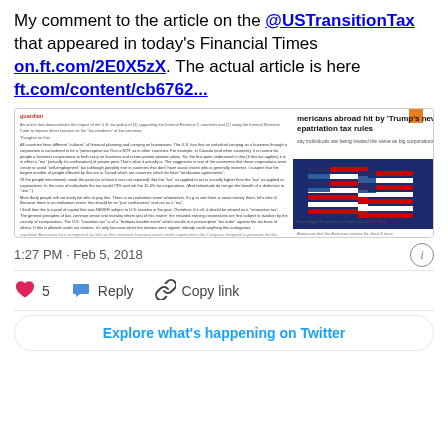My comment to the article on the @USTransitionTax that appeared in today's Financial Times on.ft.com/2E0X5zX. The actual article is here ft.com/content/cb6762...
[Figure (screenshot): Embedded Financial Times article screenshot showing headline 'Americans abroad hit by Trump's new repatriation tax rules' with text columns and a photo of American flags]
1:27 PM · Feb 5, 2018
5  Reply  Copy link
Explore what's happening on Twitter